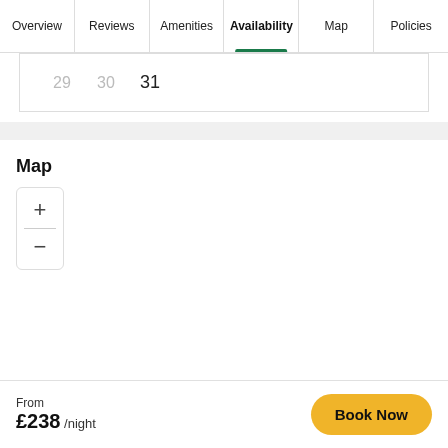Overview | Reviews | Amenities | Availability | Map | Policies
| 29 | 30 | 31 |
Map
[Figure (other): Map zoom controls widget with + and - buttons]
From £238 /night   Book Now